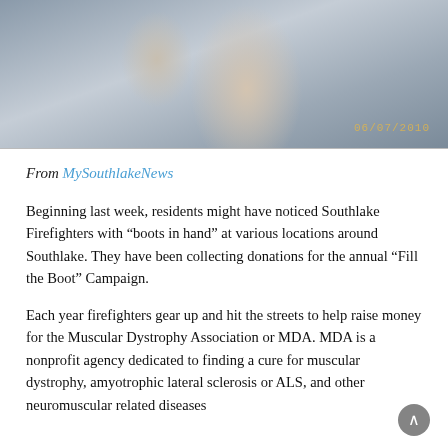[Figure (photo): A photo showing what appears to be a person's arm or wrist area, grey-toned, with a timestamp watermark reading 06/07/2010 in the bottom-right corner.]
From MySouthlakeNews
Beginning last week, residents might have noticed Southlake Firefighters with “boots in hand” at various locations around Southlake. They have been collecting donations for the annual “Fill the Boot” Campaign.
Each year firefighters gear up and hit the streets to help raise money for the Muscular Dystrophy Association or MDA. MDA is a nonprofit agency dedicated to finding a cure for muscular dystrophy, amyotrophic lateral sclerosis or ALS, and other neuromuscular related diseases